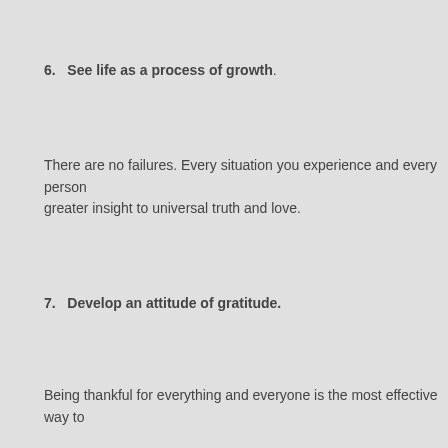6.   See life as a process of growth.
There are no failures. Every situation you experience and every person greater insight to universal truth and love.
7.   Develop an attitude of gratitude.
Being thankful for everything and everyone is the most effective way to